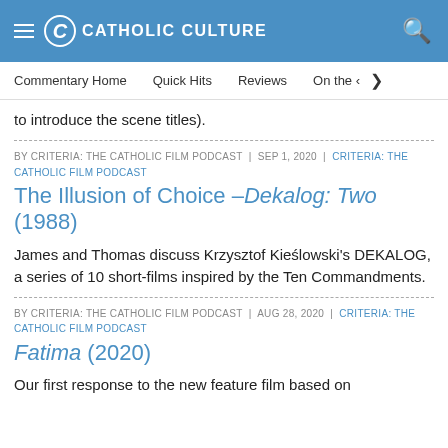CATHOLIC CULTURE
Commentary Home | Quick Hits | Reviews | On the <
to introduce the scene titles).
BY CRITERIA: THE CATHOLIC FILM PODCAST | SEP 1, 2020 | CRITERIA: THE CATHOLIC FILM PODCAST
The Illusion of Choice – Dekalog: Two (1988)
James and Thomas discuss Krzysztof Kieślowski's DEKALOG, a series of 10 short-films inspired by the Ten Commandments.
BY CRITERIA: THE CATHOLIC FILM PODCAST | AUG 28, 2020 | CRITERIA: THE CATHOLIC FILM PODCAST
Fatima (2020)
Our first response to the new feature film based on